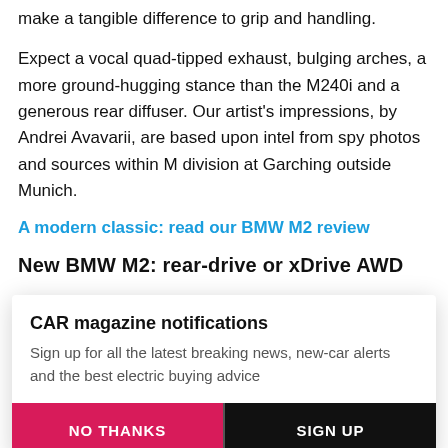make a tangible difference to grip and handling.
Expect a vocal quad-tipped exhaust, bulging arches, a more ground-hugging stance than the M240i and a generous rear diffuser. Our artist's impressions, by Andrei Avavarii, are based upon intel from spy photos and sources within M division at Garching outside Munich.
A modern classic: read our BMW M2 review
New BMW M2: rear-drive or xDrive AWD
CAR magazine notifications
Sign up for all the latest breaking news, new-car alerts and the best electric buying advice
NO THANKS
SIGN UP